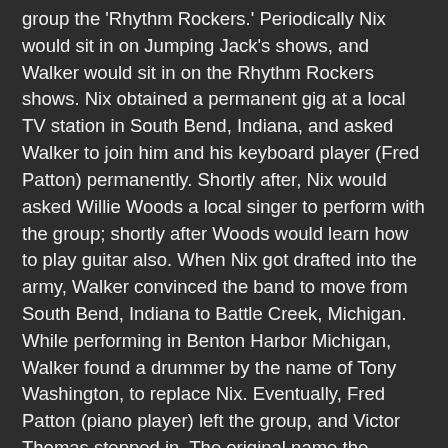group the 'Rhythm Rockers.' Periodically Nix would sit in on Jumping Jack's shows, and Walker would sit in on the Rhythm Rockers shows. Nix obtained a permanent gig at a local TV station in South Bend, Indiana, and asked Walker to join him and his keyboard player (Fred Patton) permanently. Shortly after, Nix would asked Willie Woods a local singer to perform with the group; shortly after Woods would learn how to play guitar also. When Nix got drafted into the army, Walker convinced the band to move from South Bend, Indiana to Battle Creek, Michigan. While performing in Benton Harbor Michigan, Walker found a drummer by the name of Tony Washington, to replace Nix. Eventually, Fred Patton (piano player) left the group, and Victor Thomas stepped in. The original name the "Rhythm Rockers" was changed to the "All Stars". The group was spotted by Johnny Bristol. He recommended them to Harvey Fuqua, in 1961, who had his own recording labels. Once the group started recording on the Harvey label, their name was changed to Junior Walker & the All Stars. When Fuqua's labels were taken over by Motown Berry Gordy, Jr. Walker & The All Stars became members of the Motown Records family, recording for